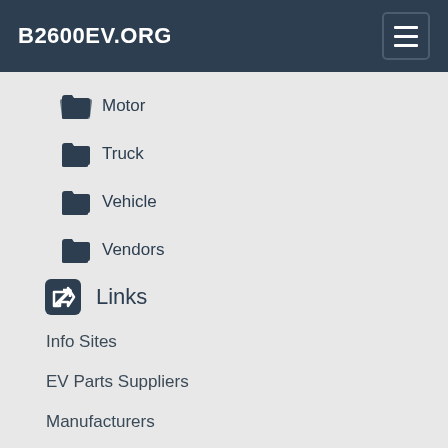B2600EV.ORG
Motor
Truck
Vehicle
Vendors
Links
Info Sites
EV Parts Suppliers
Manufacturers
Other Suppliers